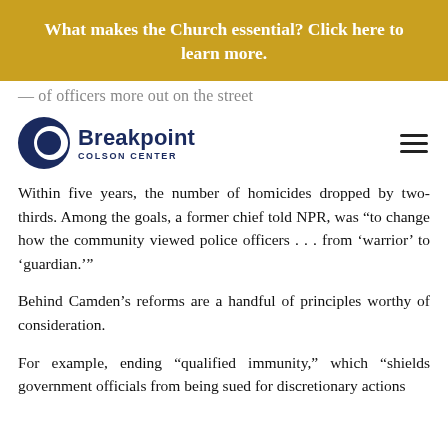What makes the Church essential? Click here to learn more.
— of officers more out on the street
[Figure (logo): Breakpoint Colson Center logo — circular crescent icon in dark navy blue beside bold text 'Breakpoint' and subtitle 'COLSON CENTER']
Within five years, the number of homicides dropped by two-thirds. Among the goals, a former chief told NPR, was “to change how the community viewed police officers . . . from ‘warrior’ to ‘guardian.’”
Behind Camden’s reforms are a handful of principles worthy of consideration.
For example, ending “qualified immunity,” which “shields government officials from being sued for discretionary actions